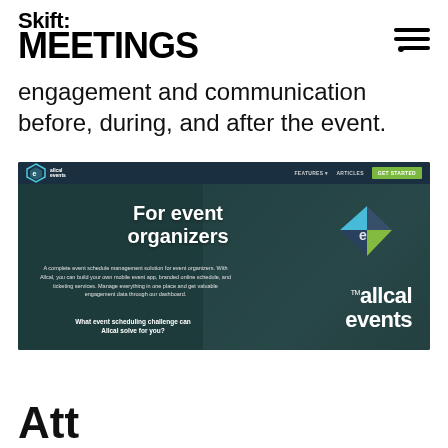Skift Meetings
engagement and communication before, during, and after the event.
[Figure (screenshot): Screenshot of the Allcal Events website homepage featuring navigation bar with FEATURES, ARTICLES, GET STARTED buttons, a hero section with text 'For event organizers', a diamond-shaped logo with blue and green colors, Allcal Events branding in white, descriptive text about complete event schedule management, and a CTA 'What event scheduling challenge can Allcal solve for you?']
Att...